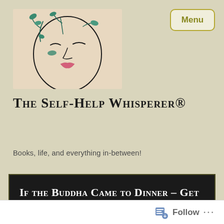[Figure (illustration): Logo illustration of a woman's face drawn in minimalist line art style with green leaf accents and pink lips]
The Self-Help Whisperer®
Books, life, and everything in-between!
If the Buddha Came to Dinner – Get out the good china!
Follow ...